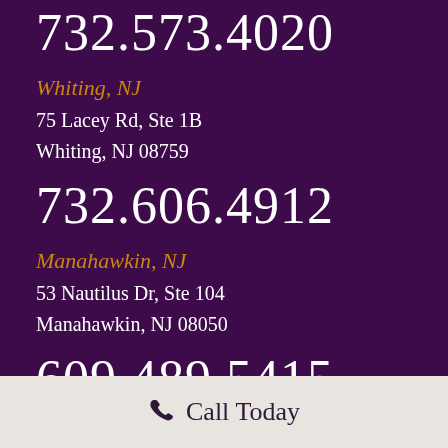732.573.4020
Whiting, NJ
75 Lacey Rd, Ste 1B
Whiting, NJ 08759
732.606.4912
Manahawkin, NJ
53 Nautilus Dr, Ste 104
Manahawkin, NJ 08050
609.489.5415
Call Today